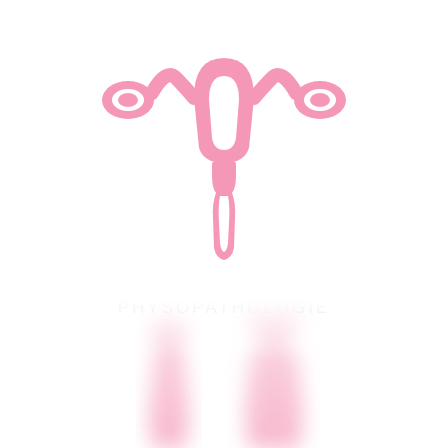[Figure (illustration): Pink uterus and ovaries medical icon/illustration centered in upper portion of page]
PHYSOPATHOLOGIE
[Figure (illustration): Blurred pink silhouettes of two human figures (doctor and patient) at bottom of page, fading upward]